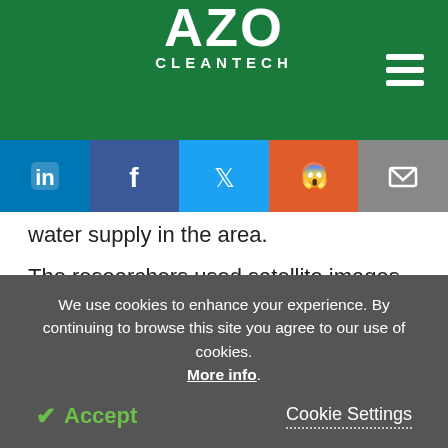AZO CLEANTECH
[Figure (screenshot): Social media share buttons: LinkedIn, Facebook, Twitter, Reddit, Email]
water supply in the area.
The researchers used satellite images and digital elevation models to create sketches of the glaciers' extent 400-700 years ago and to 'reconstruct' the ice surface. The satellite images exposed ridges that denote the former glacier boundaries, and the team
We use cookies to enhance your experience. By continuing to browse this site you agree to our use of cookies. More info.
✓ Accept   Cookie Settings